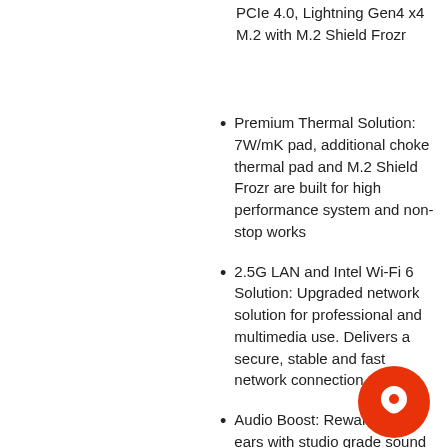PCIe 4.0, Lightning Gen4 x4 M.2 with M.2 Shield Frozr
Premium Thermal Solution: 7W/mK pad, additional choke thermal pad and M.2 Shield Frozr are built for high performance system and non-stop works
2.5G LAN and Intel Wi-Fi 6 Solution: Upgraded network solution for professional and multimedia use. Delivers a secure, stable and fast network connection
Audio Boost: Reward your ears with studio grade sound quality
[Figure (illustration): Red circular chat/messenger icon button in the bottom right corner]